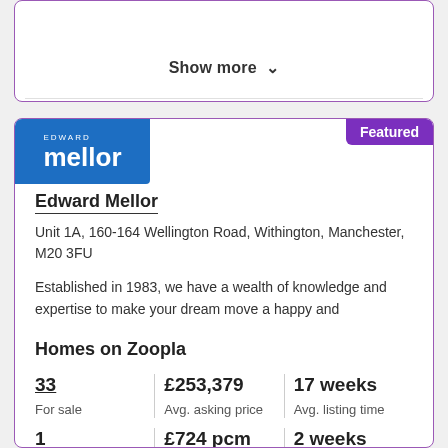Show more
Edward Mellor
Unit 1A, 160-164 Wellington Road, Withington, Manchester, M20 3FU
Established in 1983, we have a wealth of knowledge and expertise to make your dream move a happy and
Homes on Zoopla
| For sale | Avg. asking price | Avg. listing time |
| --- | --- | --- |
| 33 | £253,379 | 17 weeks |
| 1 | £724 pcm | 2 weeks |